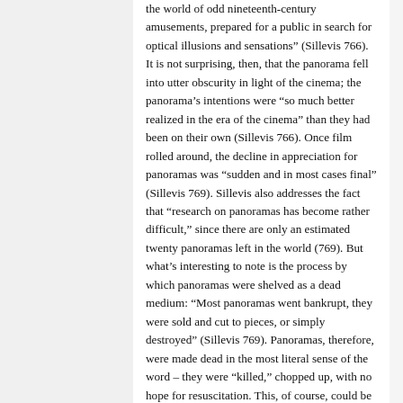the world of odd nineteenth-century amusements, prepared for a public in search for optical illusions and sensations” (Sillevis 766). It is not surprising, then, that the panorama fell into utter obscurity in light of the cinema; the panorama’s intentions were “so much better realized in the era of the cinema” than they had been on their own (Sillevis 766). Once film rolled around, the decline in appreciation for panoramas was “subden and in most cases final” (Sillevis 769). Sillevis also addresses the fact that “research on panoramas has become rather difficult,” since there are only an estimated twenty panoramas left in the world (769). But what’s interesting to note is the process by which panoramas were shelved as a dead medium: “Most panoramas went bankrupt, they were sold and cut to pieces, or simply destroyed” (Sillevis 769). Panoramas, therefore, were made dead in the most literal sense of the word – they were “killed,” chopped up, with no hope for resuscitation. This, of course, could be attributed to the sheer scale of panoramas.